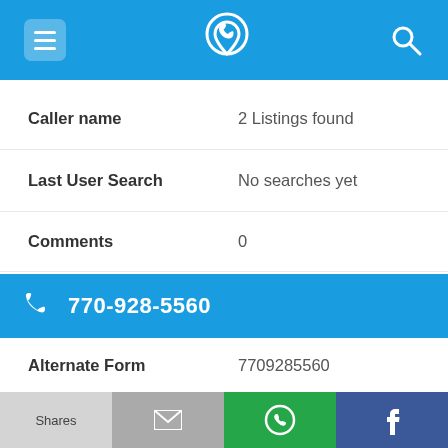Navigation bar with menu, phone lookup logo, and search icons
Caller name — 2 Listings found
Last User Search — No searches yet
Comments — 0
770-928-5560
Alternate Form — 7709285560
Caller name — 4 Listings found
Shares | Mail | WhatsApp | Facebook